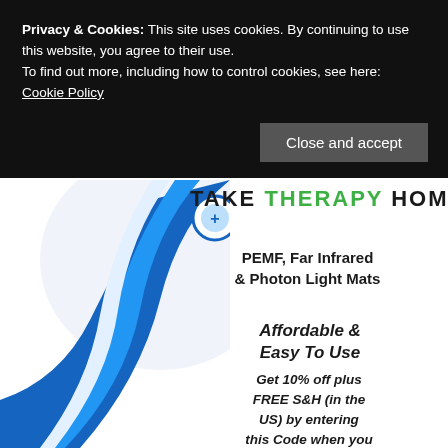Privacy & Cookies: This site uses cookies. By continuing to use this website, you agree to their use.
To find out more, including how to control cookies, see here: Cookie Policy
Close and accept
[Figure (logo): Take Therapy Home logo with blue decorative swirl background, circular icon at top center]
TAKE THERAPY HOME
PEMF, Far Infrared & Photon Light Mats
Affordable & Easy To Use
Get 10% off plus FREE S&H (in the US) by entering this Code when you order: gth10s